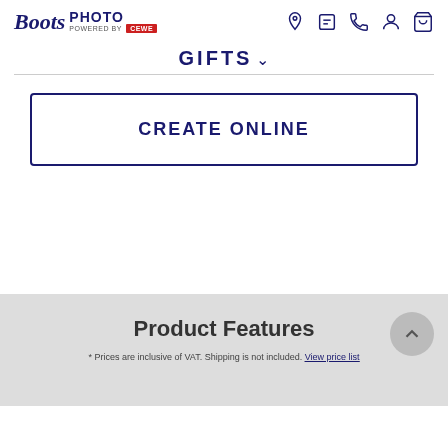[Figure (logo): Boots Photo powered by CEWE logo in top left with navigation icons (location, info, phone, account, cart) on the right]
GIFTS ∨
CREATE ONLINE
Product Features
* Prices are inclusive of VAT. Shipping is not included. View price list